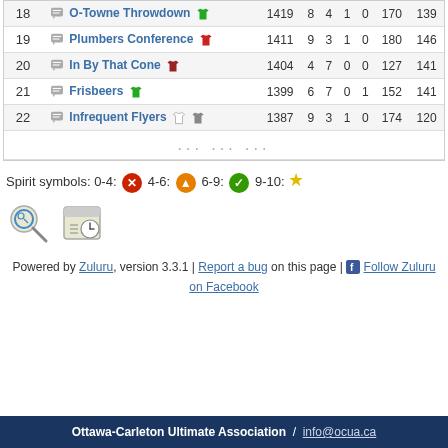| # | Team | Rating | W | L | T | F | PF | PA |
| --- | --- | --- | --- | --- | --- | --- | --- | --- |
| 18 | O-Towne Throwdown | 1419 | 8 | 4 | 1 | 0 | 170 | 139 |
| 19 | Plumbers Conference | 1411 | 9 | 3 | 1 | 0 | 180 | 146 |
| 20 | In By That Cone | 1404 | 4 | 7 | 0 | 0 | 127 | 141 |
| 21 | Frisbeers | 1399 | 6 | 7 | 0 | 1 | 152 | 141 |
| 22 | Infrequent Flyers | 1387 | 9 | 3 | 1 | 0 | 174 | 120 |
Spirit symbols: 0-4: [X] 4-6: [^] 6-9: [check] 9-10: [star]
[Figure (infographic): Two icons: a search/magnifier icon and a schedule/calendar icon]
Powered by Zuluru, version 3.3.1 | Report a bug on this page | Follow Zuluru on Facebook
Ottawa-Carleton Ultimate Association / info@ocua.ca